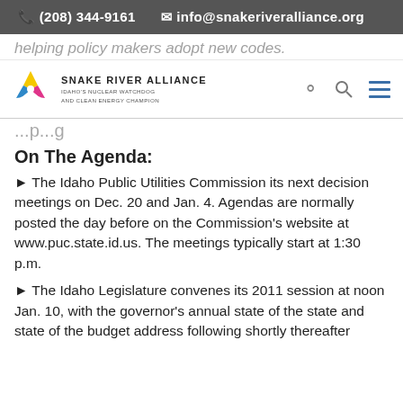(208) 344-9161  info@snakeriveralliance.org
helping policy makers adopt new codes.
[Figure (logo): Snake River Alliance logo with triskele symbol in yellow, blue and pink, and text 'SNAKE RIVER ALLIANCE — IDAHO'S NUCLEAR WATCHDOG AND CLEAN ENERGY CHAMPION']
...p...g
On The Agenda:
► The Idaho Public Utilities Commission its next decision meetings on Dec. 20 and Jan. 4. Agendas are normally posted the day before on the Commission's website at www.puc.state.id.us. The meetings typically start at 1:30 p.m.
► The Idaho Legislature convenes its 2011 session at noon Jan. 10, with the governor's annual state of the state and state of the budget address following shortly thereafter